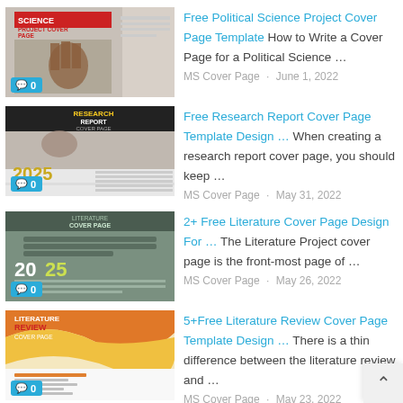Free Political Science Project Cover Page Template How to Write a Cover Page for a Political Science … MS Cover Page · June 1, 2022
Free Research Report Cover Page Template Design … When creating a research report cover page, you should keep … MS Cover Page · May 31, 2022
2+ Free Literature Cover Page Design For … The Literature Project cover page is the front-most page of … MS Cover Page · May 26, 2022
5+Free Literature Review Cover Page Template Design … There is a thin difference between the literature review and … MS Cover Page · May 23, 2022
Free Essay Extended Essay Cover Page …